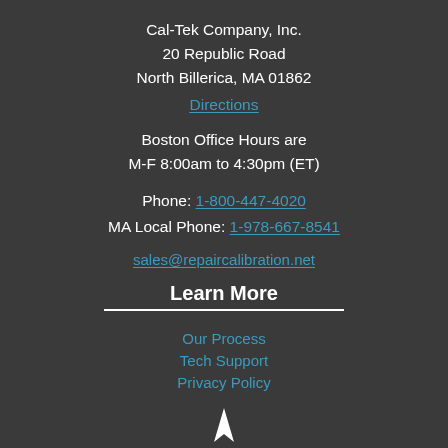Cal-Tek Company, Inc.
20 Republic Road
North Billerica, MA 01862
Directions
Boston Office Hours are
M-F 8:00am to 4:30pm (ET)
Phone: 1-800-447-4020
MA Local Phone: 1-978-667-8541
sales@repaircalibration.net
Learn More
Our Process
Tech Support
Privacy Policy
[Figure (logo): Small white flame/arrow logo at bottom center]